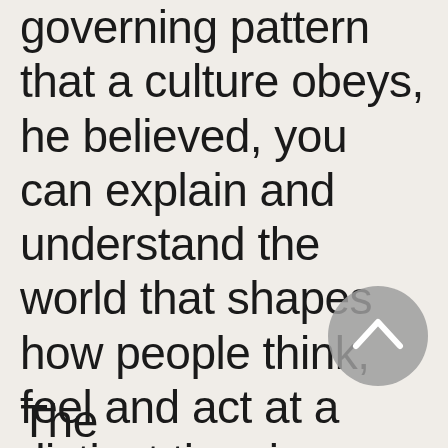governing pattern that a culture obeys, he believed, you can explain and understand the world that shapes how people think, feel and act at a distinct time in history.1
[Figure (other): A circular grey navigation button with a white upward-pointing chevron arrow icon]
The...